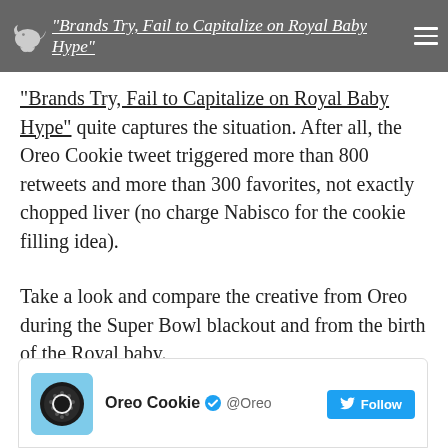“Brands Try, Fail to Capitalize on Royal Baby Hype”
“Brands Try, Fail to Capitalize on Royal Baby Hype” quite captures the situation. After all, the Oreo Cookie tweet triggered more than 800 retweets and more than 300 favorites, not exactly chopped liver (no charge Nabisco for the cookie filling idea).
Take a look and compare the creative from Oreo during the Super Bowl blackout and from the birth of the Royal baby.
[Figure (screenshot): Tweet card from Oreo Cookie (@Oreo) with verified badge and Follow button]